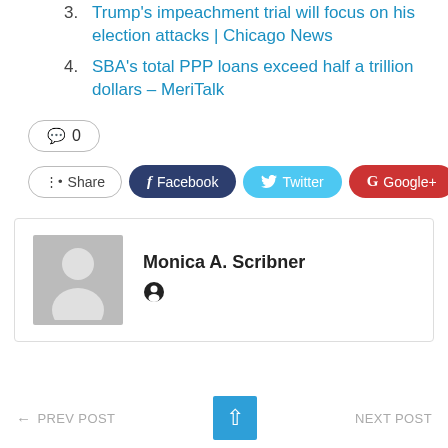3. Trump's impeachment trial will focus on his election attacks | Chicago News
4. SBA's total PPP loans exceed half a trillion dollars – MeriTalk
[Figure (infographic): Comment button showing 0 comments, share buttons for Facebook, Twitter, Google+, and a plus button]
[Figure (infographic): Author box for Monica A. Scribner with avatar placeholder and profile icon]
PREV POST   NEXT POST